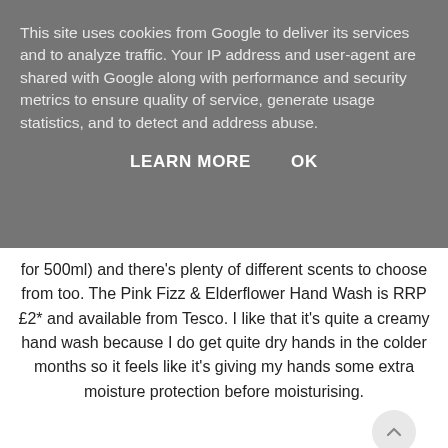This site uses cookies from Google to deliver its services and to analyze traffic. Your IP address and user-agent are shared with Google along with performance and security metrics to ensure quality of service, generate usage statistics, and to detect and address abuse.
LEARN MORE    OK
for 500ml) and there's plenty of different scents to choose from too. The Pink Fizz & Elderflower Hand Wash is RRP £2* and available from Tesco. I like that it's quite a creamy hand wash because I do get quite dry hands in the colder months so it feels like it's giving my hands some extra moisture protection before moisturising.
Have you tried any products from Baylis & Harding? If